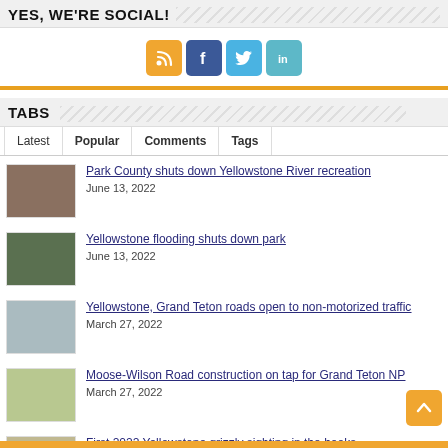YES, WE'RE SOCIAL!
[Figure (infographic): Social media icons: RSS (orange), Facebook (blue), Twitter (light blue), LinkedIn (teal)]
TABS
Latest | Popular | Comments | Tags
Park County shuts down Yellowstone River recreation
June 13, 2022
Yellowstone flooding shuts down park
June 13, 2022
Yellowstone, Grand Teton roads open to non-motorized traffic
March 27, 2022
Moose-Wilson Road construction on tap for Grand Teton NP
March 27, 2022
First 2022 Yellowstone grizzly sighting in the books